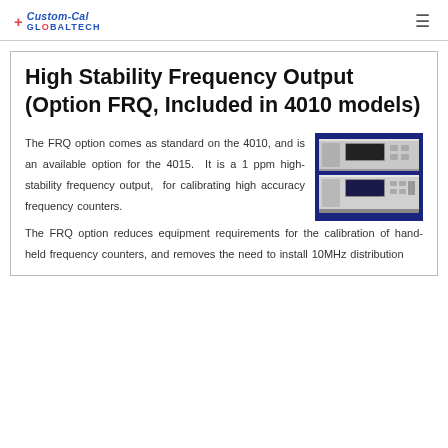Custom-Cal GLOBALTECH
High Stability Frequency Output (Option FRQ, Included in 4010 models)
The FRQ option comes as standard on the 4010, and is an available option for the 4015.  It is a 1 ppm high-stability frequency output,  for calibrating high accuracy frequency counters.
[Figure (photo): Photo of a rack-mount calibration instrument (frequency calibrator) with white/grey chassis, front-panel display and controls, against a dark blue background.]
The FRQ option reduces equipment requirements for the calibration of hand-held frequency counters, and removes the need to install 10MHz distribution